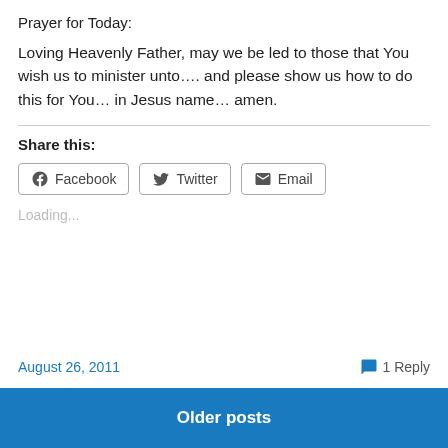Prayer for Today:
Loving Heavenly Father, may we be led to those that You wish us to minister unto…. and please show us how to do this for You… in Jesus name… amen.
Share this:
Loading...
August 26, 2011   1 Reply
Older posts